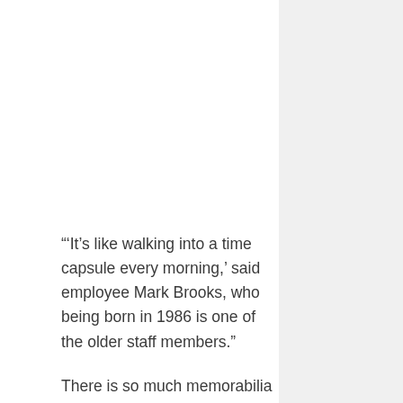"'It's like walking into a time capsule every morning,' said employee Mark Brooks, who being born in 1986 is one of the older staff members."
There is so much memorabilia however, that Totally 80s Pizza is looking to expand by moving to a